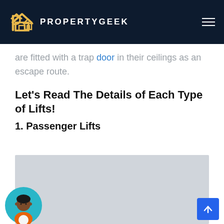PROPERTYGEEK
are fitted with a trap door in their ceilings as an escape route.
Let's Read The Details of Each Type of Lifts!
1. Passenger Lifts
[Figure (photo): Gray placeholder image area for passenger lift photo]
[Figure (illustration): Circular avatar illustration of a person with dark skin, black hair, wearing an orange and white outfit, on a teal/cyan background]
[Figure (other): Blue scroll-to-top button with upward arrow icon]